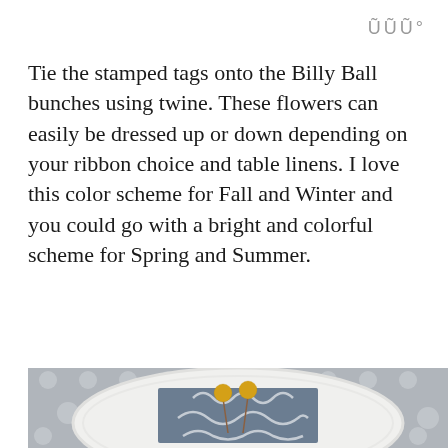w°
Tie the stamped tags onto the Billy Ball bunches using twine. These flowers can easily be dressed up or down depending on your ribbon choice and table linens. I love this color scheme for Fall and Winter and you could go with a bright and colorful scheme for Spring and Summer.
[Figure (photo): Top-down view of a white scalloped plate on a gray polka-dot tablecloth, with a gray and white damask-patterned napkin folded on the plate, topped with yellow Billy Ball (craspedia) flowers on stems.]